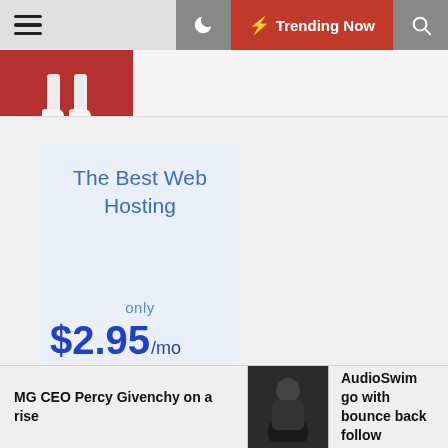☰  🌙  ⚡ Trending Now  🔍
[Figure (screenshot): Top strip with a partial image of legs/feet on red background]
[Figure (infographic): Web hosting advertisement card: The Best Web Hosting only $2.95/mo]
The Best Web Hosting
only
$2.95 /mo
MG CEO Percy Givenchy on a rise
[Figure (photo): Thumbnail photo of a person in a black shirt]
AudioSwim go with bounce back follow